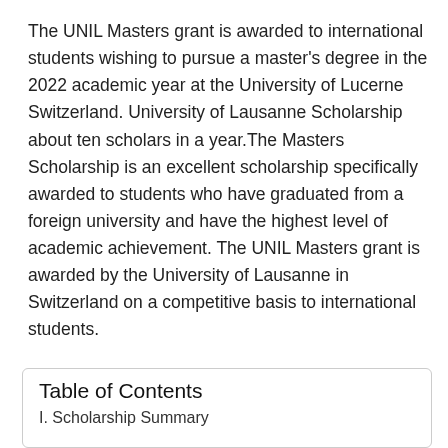The UNIL Masters grant is awarded to international students wishing to pursue a master's degree in the 2022 academic year at the University of Lucerne Switzerland. University of Lausanne Scholarship about ten scholars in a year.The Masters Scholarship is an excellent scholarship specifically awarded to students who have graduated from a foreign university and have the highest level of academic achievement. The UNIL Masters grant is awarded by the University of Lausanne in Switzerland on a competitive basis to international students.
Table of Contents
I. Scholarship Summary